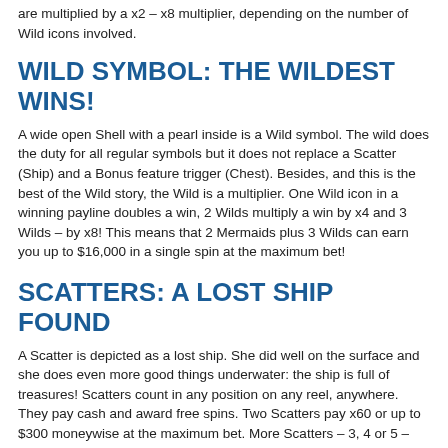are multiplied by a x2 – x8 multiplier, depending on the number of Wild icons involved.
WILD SYMBOL: THE WILDEST WINS!
A wide open Shell with a pearl inside is a Wild symbol. The wild does the duty for all regular symbols but it does not replace a Scatter (Ship) and a Bonus feature trigger (Chest). Besides, and this is the best of the Wild story, the Wild is a multiplier. One Wild icon in a winning payline doubles a win, 2 Wilds multiply a win by x4 and 3 Wilds – by x8! This means that 2 Mermaids plus 3 Wilds can earn you up to $16,000 in a single spin at the maximum bet!
SCATTERS: A LOST SHIP FOUND
A Scatter is depicted as a lost ship. She did well on the surface and she does even more good things underwater: the ship is full of treasures! Scatters count in any position on any reel, anywhere. They pay cash and award free spins. Two Scatters pay x60 or up to $300 moneywise at the maximum bet. More Scatters – 3, 4 or 5 – award free spins.